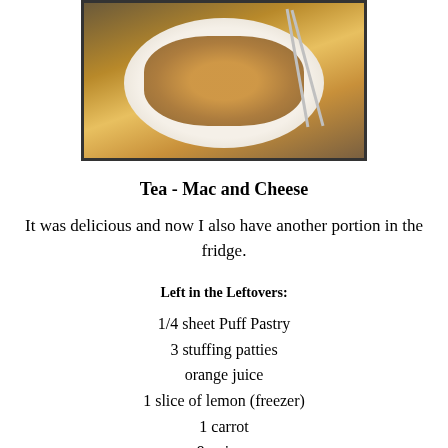[Figure (photo): A white plate with mac and cheese topped with breadcrumbs, chopsticks visible in background, dark surface underneath]
Tea - Mac and Cheese
It was delicious and now I also have another portion in the fridge.
Left in the Leftovers:
1/4 sheet Puff Pastry
3 stuffing patties
orange juice
1 slice of lemon (freezer)
1 carrot
9 onions
3/4 iceberg lettuce
2 spring onions